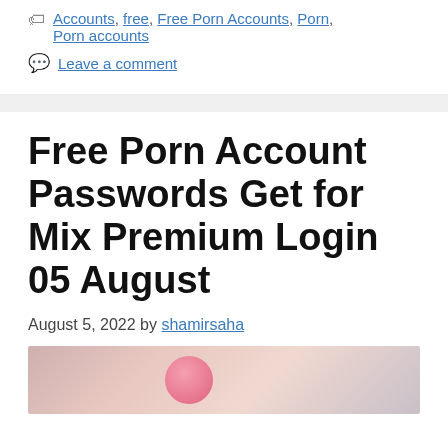Accounts, free, Free Porn Accounts, Porn, Porn accounts
Leave a comment
Free Porn Account Passwords Get for Mix Premium Login 05 August
August 5, 2022 by shamirsaha
[Figure (photo): Partial photo visible at bottom of page, showing a pink balloon and a person]